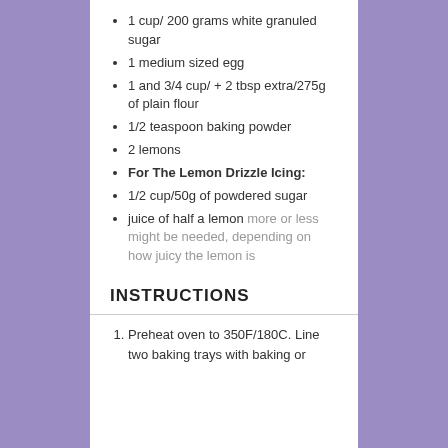1 cup/ 200 grams white granuled sugar
1 medium sized egg
1 and 3/4 cup/ + 2 tbsp extra/275g of plain flour
1/2 teaspoon baking powder
2 lemons
For The Lemon Drizzle Icing:
1/2 cup/50g of powdered sugar
juice of half a lemon more or less might be needed, depending on how juicy the lemon is
INSTRUCTIONS
Preheat oven to 350F/180C. Line two baking trays with baking or